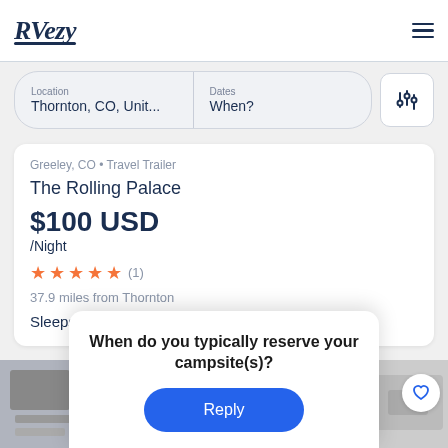RVezy
Location: Thornton, CO, Unit... | Dates: When?
Greeley, CO • Travel Trailer
The Rolling Palace
$100 USD /Night
★★★★★ (1)
37.9 miles from Thornton
Sleeps 8
When do you typically reserve your campsite(s)?
Reply